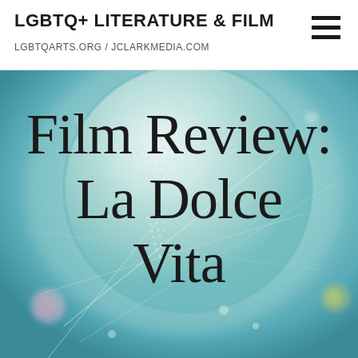LGBTQ+ LITERATURE & FILM
LGBTQARTS.ORG / JCLARKMEDIA.COM
[Figure (illustration): Stylized digital globe illustration with teal/aqua color palette, showing Earth with dotted/halftone continents, glowing light streaks, and a dreamy, digital art aesthetic. Used as hero background image.]
Film Review:
La Dolce
Vita